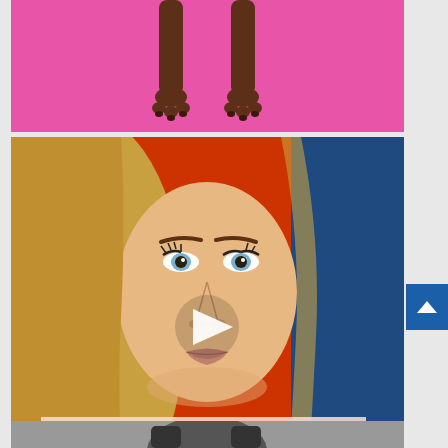[Figure (photo): Partial image of what appears to be animal (dog) legs/paws hanging against a bright pink/magenta background]
[Figure (screenshot): Video thumbnail showing a young blonde woman's face close-up against an orange-red background with blue on the right side. A white play button triangle is centered over the image. A semi-transparent pink text overlay at the bottom reads: POV: Texting your go-to model any time you have a creative idea for a photo shoot]
POV: Texting your go-to model any time you have a creative idea for a photo shoot
[Figure (photo): Partial bottom thumbnail image, partially cut off at the bottom of the page, showing a dark scene]